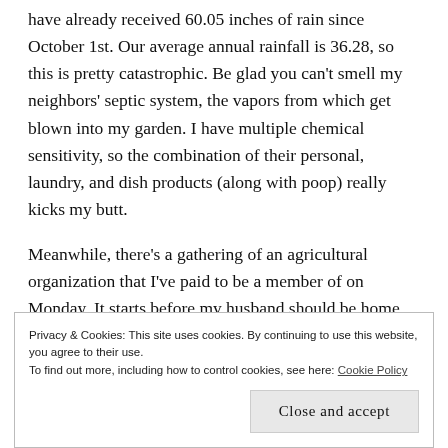have already received 60.05 inches of rain since October 1st. Our average annual rainfall is 36.28, so this is pretty catastrophic. Be glad you can't smell my neighbors' septic system, the vapors from which get blown into my garden. I have multiple chemical sensitivity, so the combination of their personal, laundry, and dish products (along with poop) really kicks my butt.
Meanwhile, there's a gathering of an agricultural organization that I've paid to be a member of on Monday. It starts before my husband should be home
Privacy & Cookies: This site uses cookies. By continuing to use this website, you agree to their use.
To find out more, including how to control cookies, see here: Cookie Policy
Close and accept